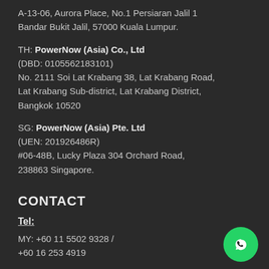A-13-06, Aurora Place, No.1 Persiaran Jalil 1 Bandar Bukit Jalil, 57000 Kuala Lumpur.
TH: PowerNow (Asia) Co., Ltd (DBD: 0105562183101) No. 2111 Soi Lat Krabang 38, Lat Krabang Road, Lat Krabang Sub-district, Lat Krabang District, Bangkok 10520
SG: PowerNow (Asia) Pte. Ltd (UEN: 201926486R) #06-48B, Lucky Plaza 304 Orchard Road, 238863 Singapore.
CONTACT
Tel:
MY: +60 11 5502 9328 / +60 16 253 4919
[Figure (illustration): Green circular WhatsApp chat button icon in bottom right corner]